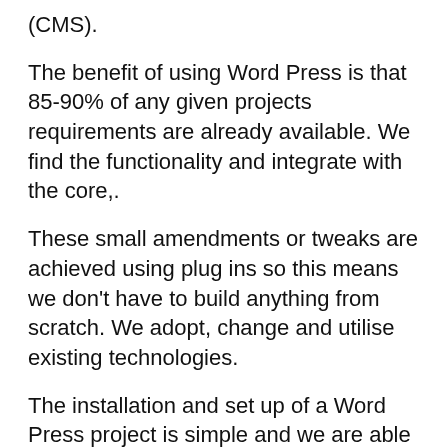(CMS).
The benefit of using Word Press is that 85-90% of any given projects requirements are already available. We  find the functionality and integrate with the core,.
These small amendments or tweaks are achieved using plug ins so this means we don't have to build anything from scratch. We adopt, change and utilise existing technologies.
The installation and set up of a Word Press project is simple and we are able to work with your assisting host, *(or recommend a new host if you need).
A good host will ensure your project can go live and handle the the traffic you are